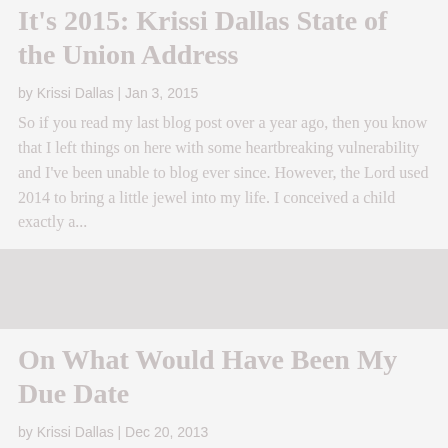It's 2015: Krissi Dallas State of the Union Address
by Krissi Dallas | Jan 3, 2015
So if you read my last blog post over a year ago, then you know that I left things on here with some heartbreaking vulnerability and I've been unable to blog ever since. However, the Lord used 2014 to bring a little jewel into my life. I conceived a child exactly a...
[Figure (photo): Faded/washed out rectangular image placeholder used as separator between blog post entries]
On What Would Have Been My Due Date
by Krissi Dallas | Dec 20, 2013
Back in May, I experienced something...